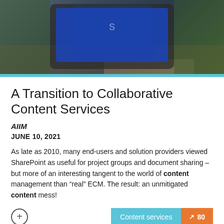[Figure (photo): Top portion of a tablet device with a blue screen, on a wooden surface with a green background]
A Transition to Collaborative Content Services
AIIM
JUNE 10, 2021
As late as 2010, many end-users and solution providers viewed SharePoint as useful for project groups and document sharing – but more of an interesting tangent to the world of content management than “real” ECM. The result: an unmitigated content mess!
[Figure (photo): Dark server room or data center with blue-tinted lighting and suspended panels]